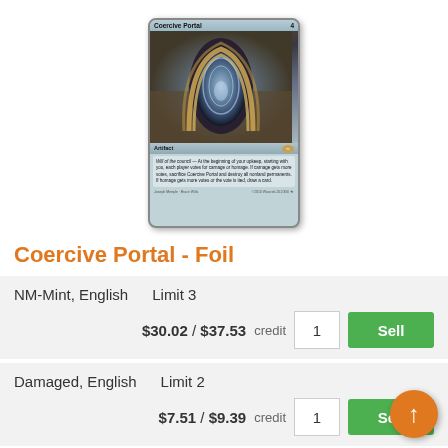[Figure (illustration): Magic: The Gathering card named 'Coercive Portal' showing a fantasy artifact card with a swirling portal arch artwork, type line 'Artifact', and flavor text about voting for carnage or homage.]
Coercive Portal - Foil
| Condition | Limit | Cash Price | Credit Price | Qty | Action |
| --- | --- | --- | --- | --- | --- |
| NM-Mint, English | Limit 3 | $30.02 | $37.53 credit | 1 | Sell |
| Damaged, English | Limit 2 | $7.51 | $9.39 credit | 1 | Sell |
| Light Play, English | Limit 2 |  |  |  |  |